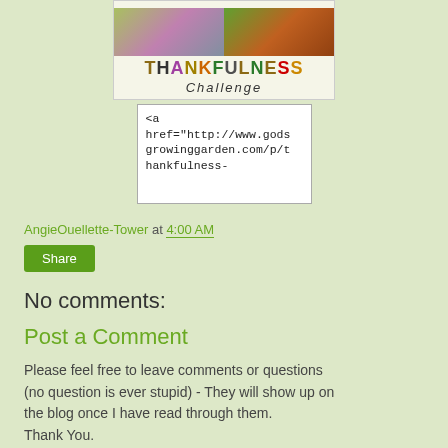[Figure (illustration): Thankfulness Challenge banner with two flower/garden photos on top and colorful letter tiles spelling THANKFULNESS and cursive Challenge text below]
<a href="http://www.godsgrowinggarden.com/p/thankfulness-
AngieOuellette-Tower at 4:00 AM
Share
No comments:
Post a Comment
Please feel free to leave comments or questions (no question is ever stupid) - They will show up on the blog once I have read through them. Thank You.